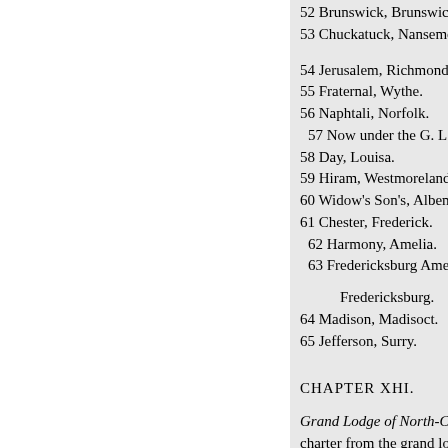52 Brunswick, Brunswick.
53 Chuckatuck, Nansemon
54 Jerusalem, Richmond.
55 Fraternal, Wythe.
56 Naphtali, Norfolk.
57 Now under the G. L. K.
58 Day, Louisa.
59 Hiram, Westmoreland.
60 Widow's Son's, Albemar.
61 Chester, Frederick.
62 Harmony, Amelia.
63 Fredericksburg America
Fredericksburg.
64 Madison, Madisoct.
65 Jefferson, Surry.
CHAPTER XHI.
Grand Lodge of North-Carolin charter from the grand lodge of S which latter place the records we